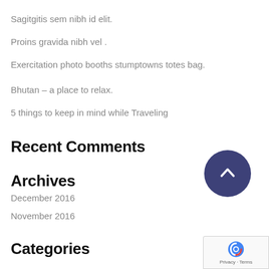Sagitgitis sem nibh id elit.
Proins gravida nibh vel .
Exercitation photo booths stumptowns totes bag.
Bhutan – a place to relax.
5 things to keep in mind while Traveling
Recent Comments
Archives
December 2016
November 2016
Categories